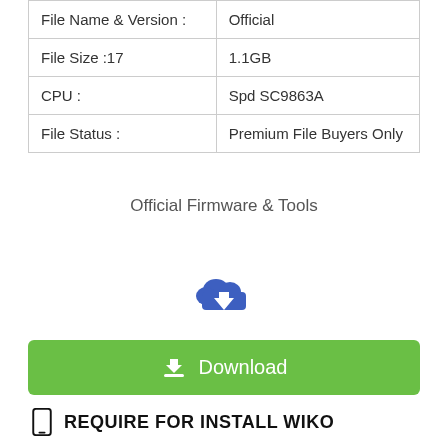| File Name & Version : | Official |
| File Size :17 | 1.1GB |
| CPU : | Spd SC9863A |
| File Status : | Premium File Buyers Only |
Official Firmware & Tools
[Figure (illustration): Blue cloud download icon with downward arrow]
Download
REQUIRE FOR INSTALL WIKO